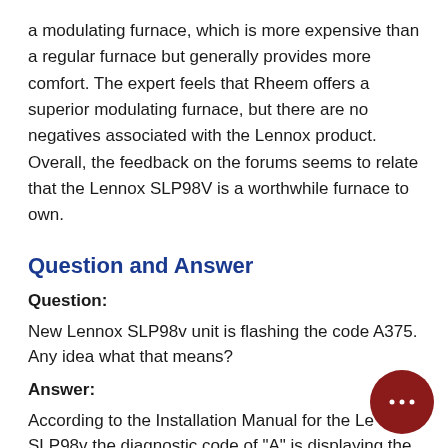a modulating furnace, which is more expensive than a regular furnace but generally provides more comfort. The expert feels that Rheem offers a superior modulating furnace, but there are no negatives associated with the Lennox product. Overall, the feedback on the forums seems to relate that the Lennox SLP98V is a worthwhile furnace to own.
Question and Answer
Question:
New Lennox SLP98v unit is flashing the code A375. Any idea what that means?
Answer:
According to the Installation Manual for the Lennox SLP98v the diagnostic code of "A" is displaying the